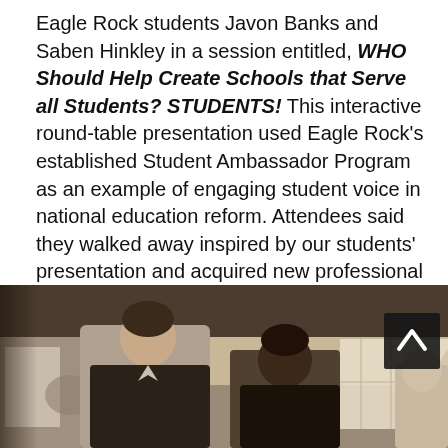Eagle Rock students Javon Banks and Saben Hinkley in a session entitled, WHO Should Help Create Schools that Serve all Students? STUDENTS! This interactive round-table presentation used Eagle Rock's established Student Ambassador Program as an example of engaging student voice in national education reform. Attendees said they walked away inspired by our students' presentation and acquired new professional development tools. To engage students, participants learned how to apply multi-tiered systems, rapid prototyping and organizational change models to their own context.
[Figure (photo): Photograph of a conference or meeting room scene showing students and adults. Two young men are prominent in the foreground. Multiple people are visible in the background seated at tables. A scroll-to-top arrow button overlay appears in the upper right of the photo.]